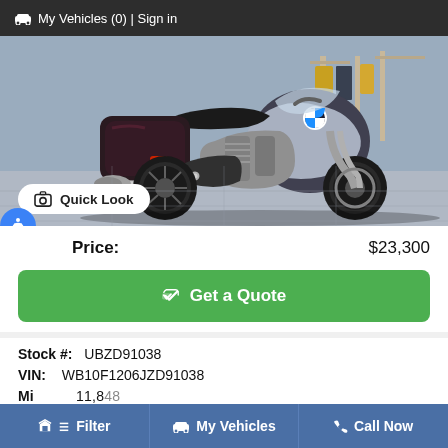🚗 My Vehicles (0) | Sign in
[Figure (photo): BMW motorcycle (touring/grand tourer style, silver and black) parked indoors on a showroom floor with clothing racks visible in background]
Quick Look
Price:   $23,300
👍 Get a Quote
Stock #:  UBZD91038
VIN:  WB10F1206JZD91038
Mi:  11,848
Filter   My Vehicles   Call Now